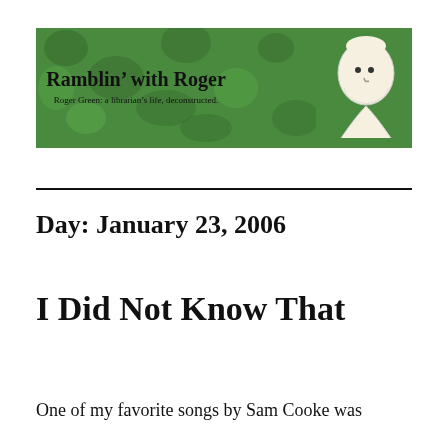[Figure (illustration): Green mottled banner with bold text 'Ramblin\u2019 with Roger' and subtitle 'Roger Green: a librarian\u2019s life, deconstructed.' with a cartoon character on the right side.]
Day: January 23, 2006
I Did Not Know That
One of my favorite songs by Sam Cooke was